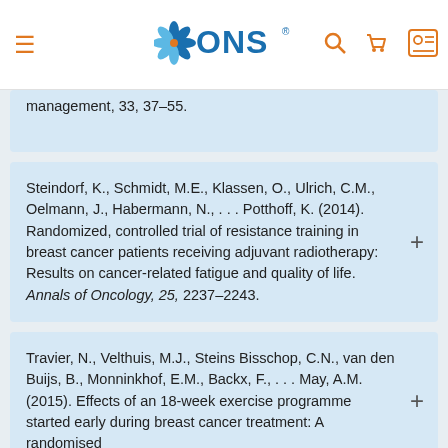ONS navigation bar with logo, hamburger menu, search, cart, and profile icons
management, 33, 37–55.
Steindorf, K., Schmidt, M.E., Klassen, O., Ulrich, C.M., Oelmann, J., Habermann, N., . . . Potthoff, K. (2014). Randomized, controlled trial of resistance training in breast cancer patients receiving adjuvant radiotherapy: Results on cancer-related fatigue and quality of life. Annals of Oncology, 25, 2237–2243.
Travier, N., Velthuis, M.J., Steins Bisschop, C.N., van den Buijs, B., Monninkhof, E.M., Backx, F., . . . May, A.M. (2015). Effects of an 18-week exercise programme started early during breast cancer treatment: A randomised